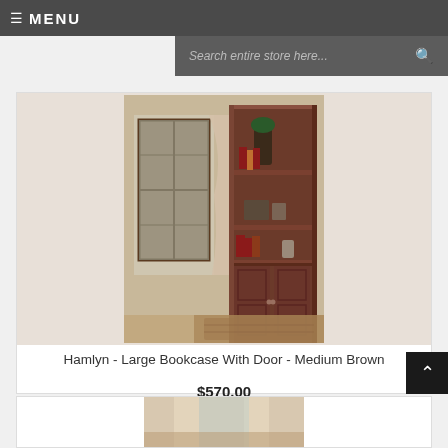≡ MENU
Search entire store here...
[Figure (photo): A tall dark brown wooden bookcase with glass-front doors on the bottom half and open shelves on top, displayed in a room setting with a window, curtains, and a rug.]
Hamlyn - Large Bookcase With Door - Medium Brown
$570.00
[Figure (photo): Partial view of a second product bookcase image, partially cut off at the bottom of the page.]